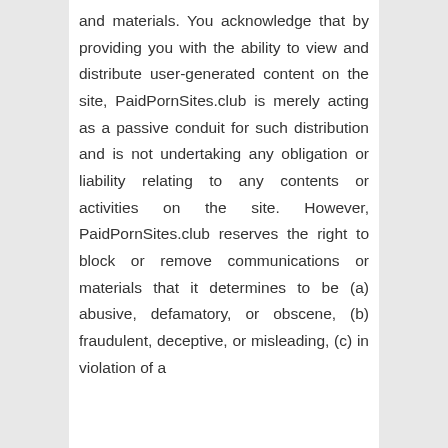and materials. You acknowledge that by providing you with the ability to view and distribute user-generated content on the site, PaidPornSites.club is merely acting as a passive conduit for such distribution and is not undertaking any obligation or liability relating to any contents or activities on the site. However, PaidPornSites.club reserves the right to block or remove communications or materials that it determines to be (a) abusive, defamatory, or obscene, (b) fraudulent, deceptive, or misleading, (c) in violation of a